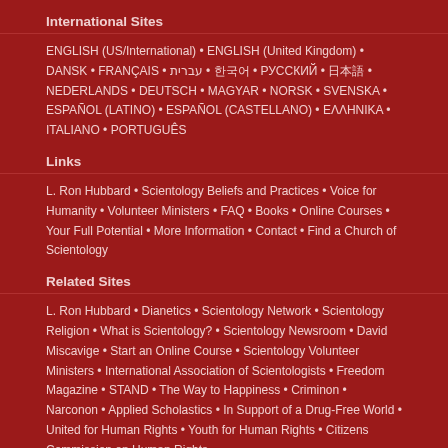International Sites
ENGLISH (US/International) • ENGLISH (United Kingdom) • DANSK • FRANÇAIS • עברית • 한국어 • РУССКИЙ • 日本語 • NEDERLANDS • DEUTSCH • MAGYAR • NORSK • SVENSKA • ESPAÑOL (LATINO) • ESPAÑOL (CASTELLANO) • ΕΛΛΗΝΙΚΑ • ITALIANO • PORTUGUÊS
Links
L. Ron Hubbard • Scientology Beliefs and Practices • Voice for Humanity • Volunteer Ministers • FAQ • Books • Online Courses • Your Full Potential • More Information • Contact • Find a Church of Scientology
Related Sites
L. Ron Hubbard • Dianetics • Scientology Network • Scientology Religion • What is Scientology? • Scientology Newsroom • David Miscavige • Start an Online Course • Scientology Volunteer Ministers • International Association of Scientologists • Freedom Magazine • STAND • The Way to Happiness • Criminon • Narconon • Applied Scholastics • In Support of a Drug-Free World • United for Human Rights • Youth for Human Rights • Citizens Commission on Human Rights